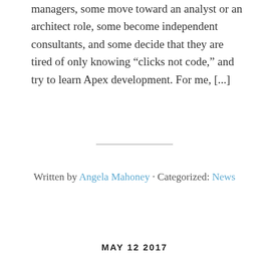managers, some move toward an analyst or an architect role, some become independent consultants, and some decide that they are tired of only knowing “clicks not code,” and try to learn Apex development. For me, [...]
Written by Angela Mahoney · Categorized: News
MAY 12 2017